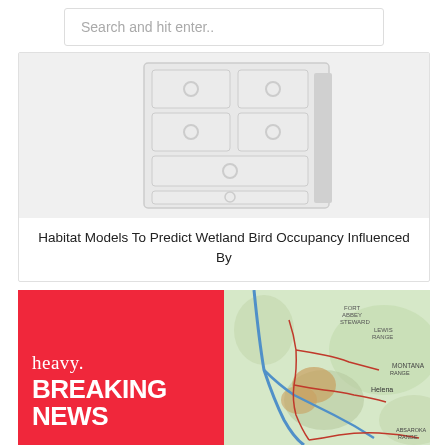Search and hit enter..
[Figure (illustration): Illustration of a white/light gray chest of drawers with multiple drawers and round knobs]
Habitat Models To Predict Wetland Bird Occupancy Influenced By
[Figure (logo): heavy. BREAKING NEWS logo on red background]
[Figure (map): Topographic/geographic map showing Montana region with Lewis Range, Helena, Absaroka Range labeled, with colored boundary overlays in red and blue]